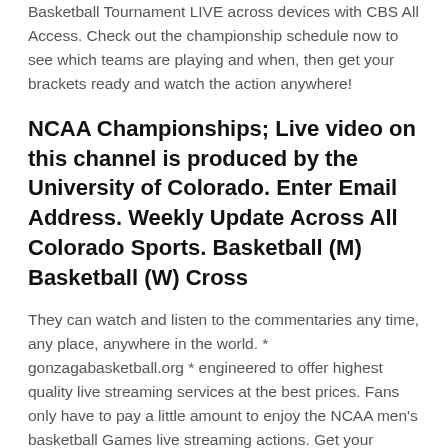Basketball Tournament LIVE across devices with CBS All Access. Check out the championship schedule now to see which teams are playing and when, then get your brackets ready and watch the action anywhere!
NCAA Championships; Live video on this channel is produced by the University of Colorado. Enter Email Address. Weekly Update Across All Colorado Sports. Basketball (M) Basketball (W) Cross
They can watch and listen to the commentaries any time, any place, anywhere in the world. * gonzagabasketball.org * engineered to offer highest quality live streaming services at the best prices. Fans only have to pay a little amount to enjoy the NCAA men's basketball Games live streaming actions. Get your Favorite College Basketball Channel on DISH. DISH brings you the best way to watch basketball live by providing access